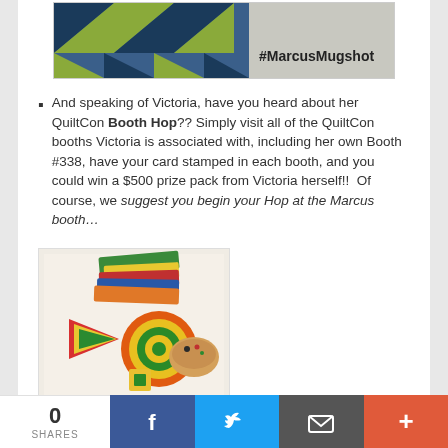[Figure (photo): Banner image with quilt and #MarcusMugshot text]
And speaking of Victoria, have you heard about her QuiltCon Booth Hop?? Simply visit all of the QuiltCon booths Victoria is associated with, including her own Booth #338, have your card stamped in each booth, and you could win a $500 prize pack from Victoria herself!!  Of course, we suggest you begin your Hop at the Marcus booth…
[Figure (photo): Colorful felt shapes and fabric swatches arranged on a white surface]
0 SHARES  [Facebook] [Twitter] [Email] [More]